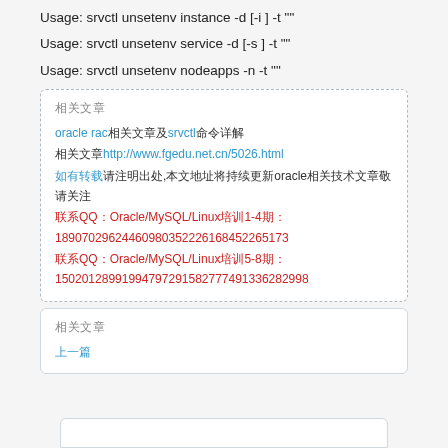Usage: srvctl unsetenv instance -d [-i ] -t ""
Usage: srvctl unsetenv service -d [-s ] -t ""
Usage: srvctl unsetenv nodeapps -n -t ""
[box 1] 相关文章 / oracle rac相关文章及srvctl命令详解 / http://www.fgedu.net.cn/5026.html / contact/QQ info / Oracle/MySQL/Linux培训1-4期:18907029624460980352226168452265173 / Oracle/MySQL/Linux培训5-8期:15020128991994797291582777491336282998
[box 2] 相关文章 / 上一篇
[bottom partial box]